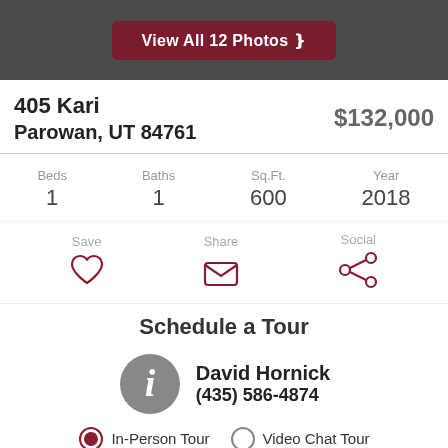[Figure (screenshot): Dark gray header bar with a dark red button labeled 'View All 12 Photos ❯❯']
405 Kari
Parowan, UT 84761
$132,000
| Beds | Baths | Sq.Ft. | Year |
| --- | --- | --- | --- |
| 1 | 1 | 600 | 2018 |
Save | Share | Social
Schedule a Tour
David Hornick
(435) 586-4874
In-Person Tour   Video Chat Tour